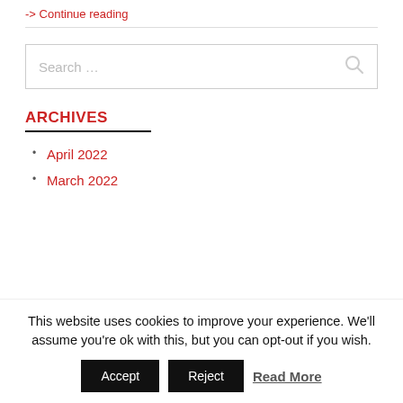-> Continue reading
[Figure (screenshot): Search input field with magnifying glass icon on the right]
ARCHIVES
April 2022
March 2022
This website uses cookies to improve your experience. We'll assume you're ok with this, but you can opt-out if you wish.
Accept   Reject   Read More